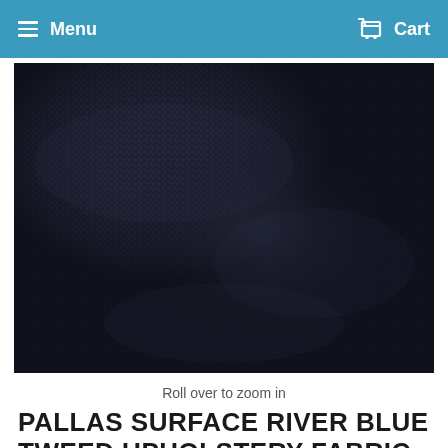Menu   Cart
[Figure (photo): Close-up photo of dark navy/charcoal blue tweed upholstery fabric with a woven grid-like texture, showing subtle variations in color and weave pattern.]
Roll over to zoom in
PALLAS SURFACE RIVER BLUE TWEED UPHOLSTERY FABRIC